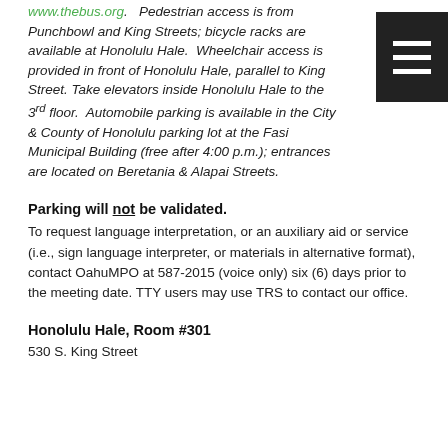www.thebus.org.   Pedestrian access is from Punchbowl and King Streets; bicycle racks are available at Honolulu Hale.  Wheelchair access is provided in front of Honolulu Hale, parallel to King Street. Take elevators inside Honolulu Hale to the 3rd floor.  Automobile parking is available in the City & County of Honolulu parking lot at the Fasi Municipal Building (free after 4:00 p.m.); entrances are located on Beretania & Alapai Streets.
Parking will not be validated. To request language interpretation, or an auxiliary aid or service (i.e., sign language interpreter, or materials in alternative format), contact OahuMPO at 587-2015 (voice only) six (6) days prior to the meeting date. TTY users may use TRS to contact our office.
Honolulu Hale, Room #301
530 S. King Street